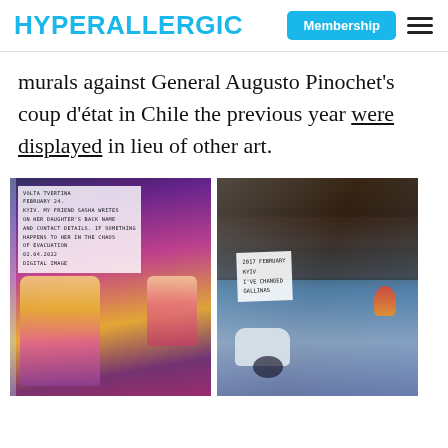HYPERALLERGIC | Membership
murals against General Augusto Pinochet's coup d'état in Chile the previous year were displayed in lieu of other art.
[Figure (photo): Left: Anime-style artwork of a woman and child in a transparent plastic sleeve with a typed label card, displayed against a colorful background. Right: Artwork in a transparent plastic sleeve showing a white elephant and dark figures, displayed against a wood plank background. Both pieces have handwritten or typed label cards attached.]